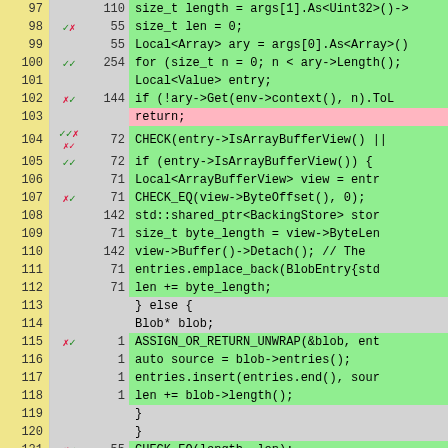[Figure (screenshot): Code coverage viewer showing C++ source lines 97-121 with line numbers, coverage marks (checkmarks/X), hit counts, and syntax-highlighted code. Green background = covered, pink = uncovered/missed, gray = not executable.]